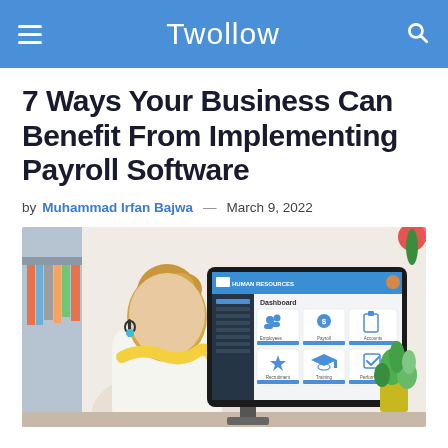Twollow
7 Ways Your Business Can Benefit From Implementing Payroll Software
by Muhammad Irfan Bajwa — March 9, 2022
[Figure (photo): A woman sitting at a desk viewed from behind, looking at a computer monitor displaying a Human Resources dashboard with sections for Employees, Payroll, Accounts, Recruitment, Training, and Performance. There are plants and office supplies visible in the background.]